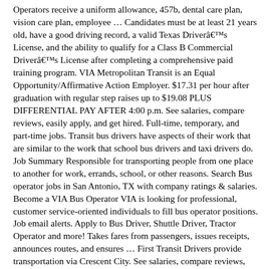Operators receive a uniform allowance, 457b, dental care plan, vision care plan, employee … Candidates must be at least 21 years old, have a good driving record, a valid Texas Driver's License, and the ability to qualify for a Class B Commercial Driver's License after completing a comprehensive paid training program. VIA Metropolitan Transit is an Equal Opportunity/Affirmative Action Employer. $17.31 per hour after graduation with regular step raises up to $19.08 PLUS DIFFERENTIAL PAY AFTER 4:00 p.m. See salaries, compare reviews, easily apply, and get hired. Full-time, temporary, and part-time jobs. Transit bus drivers have aspects of their work that are similar to the work that school bus drivers and taxi drivers do. Job Summary Responsible for transporting people from one place to another for work, errands, school, or other reasons. Search Bus operator jobs in San Antonio, TX with company ratings & salaries. Become a VIA Bus Operator VIA is looking for professional, customer service-oriented individuals to fill bus operator positions. Job email alerts. Apply to Bus Driver, Shuttle Driver, Tractor Operator and more! Takes fares from passengers, issues receipts, announces routes, and ensures … First Transit Drivers provide transportation via Crescent City. See salaries, compare reviews, easily apply, and get hired. Candidates must be at least 21 years old, have a good driving record, a valid Texas Driver's License, and the ability to qualify for a Class B Commercial Driver's License after completing a comprehensive paid training program. New shuttle bus operator careers are added daily. Simply Hired, If you know a city, getting hired here,